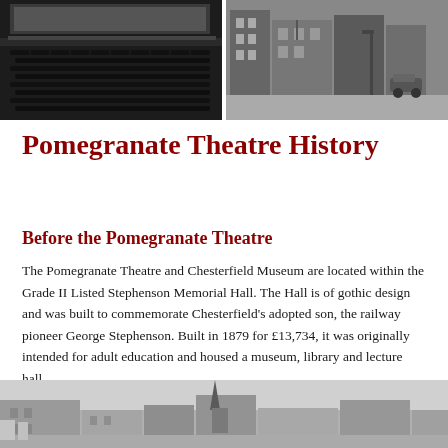[Figure (photo): Two black and white photographs side by side: left shows theatre interior with rows of seats, right shows a street scene with buildings]
Pomegranate Theatre History
Before the Pomegranate Theatre
The Pomegranate Theatre and Chesterfield Museum are located within the Grade II Listed Stephenson Memorial Hall. The Hall is of gothic design and was built to commemorate Chesterfield's adopted son, the railway pioneer George Stephenson. Built in 1879 for £13,734, it was originally intended for adult education and housed a museum, library and lecture hall.
[Figure (photo): Black and white photograph showing a street or outdoor scene, partially visible at bottom of page]